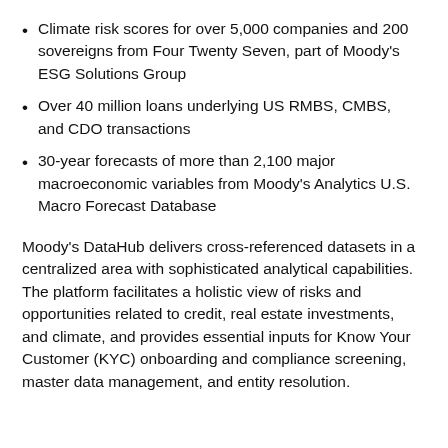Climate risk scores for over 5,000 companies and 200 sovereigns from Four Twenty Seven, part of Moody's ESG Solutions Group
Over 40 million loans underlying US RMBS, CMBS, and CDO transactions
30-year forecasts of more than 2,100 major macroeconomic variables from Moody's Analytics U.S. Macro Forecast Database
Moody's DataHub delivers cross-referenced datasets in a centralized area with sophisticated analytical capabilities. The platform facilitates a holistic view of risks and opportunities related to credit, real estate investments, and climate, and provides essential inputs for Know Your Customer (KYC) onboarding and compliance screening, master data management, and entity resolution.